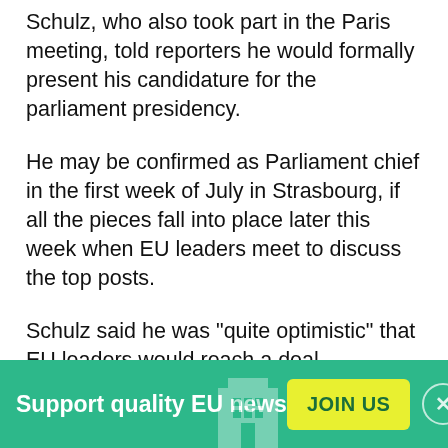Schulz, who also took part in the Paris meeting, told reporters he would formally present his candidature for the parliament presidency.
He may be confirmed as Parliament chief in the first week of July in Strasbourg, if all the pieces fall into place later this week when EU leaders meet to discuss the top posts.
Schulz said he was "quite optimistic" that EU leaders would reach a deal.
Britain's David Cameron meanwhile has not backed down from his opposition to Juncker and said he will trigger a vote in the EU council where Juncker needs to
Support quality EU news  JOIN US